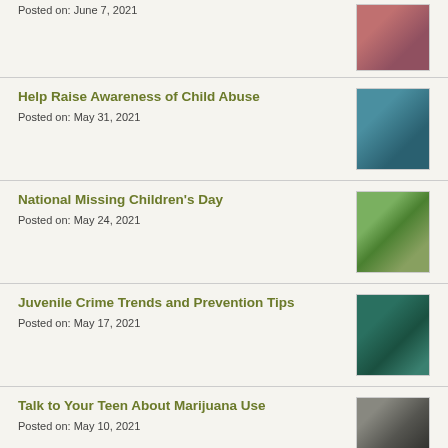Posted on: June 7, 2021
Help Raise Awareness of Child Abuse
Posted on: May 31, 2021
National Missing Children's Day
Posted on: May 24, 2021
Juvenile Crime Trends and Prevention Tips
Posted on: May 17, 2021
Talk to Your Teen About Marijuana Use
Posted on: May 10, 2021
A Career in Public Service
Posted on: May 4, 2021